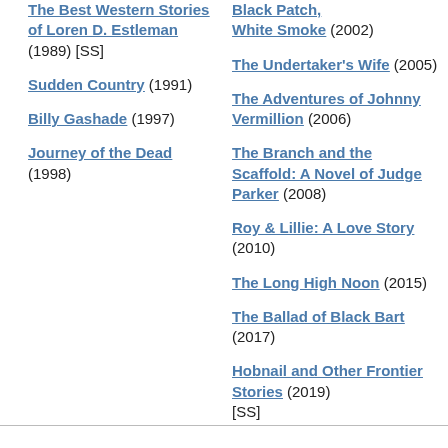The Best Western Stories of Loren D. Estleman (1989) [SS]
Sudden Country (1991)
Billy Gashade (1997)
Journey of the Dead (1998)
Black Patch, White Smoke (2002)
The Undertaker's Wife (2005)
The Adventures of Johnny Vermillion (2006)
The Branch and the Scaffold: A Novel of Judge Parker (2008)
Roy & Lillie: A Love Story (2010)
The Long High Noon (2015)
The Ballad of Black Bart (2017)
Hobnail and Other Frontier Stories (2019) [SS]